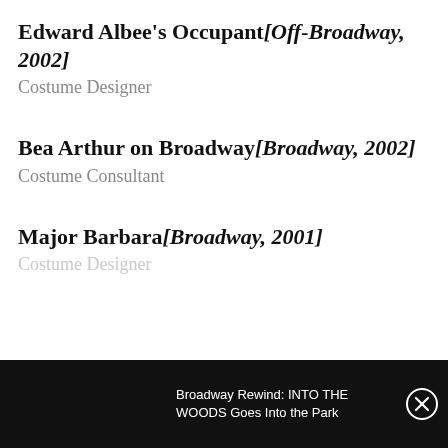Edward Albee's Occupant[Off-Broadway, 2002]
Costume Designer
Bea Arthur on Broadway[Broadway, 2002]
Costume Consultant
Major Barbara[Broadway, 2001]
Costume Designer
[Figure (screenshot): Black bottom bar overlay with text 'Broadway Rewind: INTO THE WOODS Goes Into the Park' and a close (X) button]